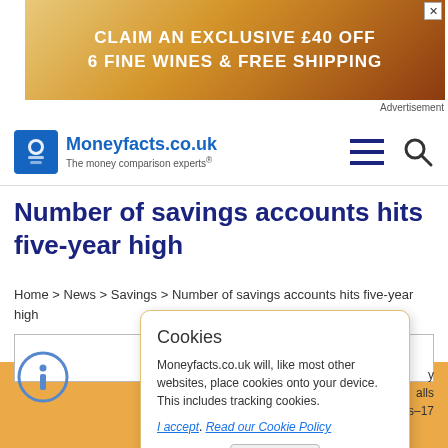[Figure (other): Advertisement banner: CLAIM AN EXCLUSIVE £40 OFF 6 FINE WINES & FREE SHIPPING with wine imagery]
[Figure (logo): Moneyfacts.co.uk logo with tagline 'The money comparison experts']
Number of savings accounts hits five-year high
Home > News > Savings > Number of savings accounts hits five-year high
ARCHIVED ARTICLE
This article was e...
Moneyfacts.co.uk will ne... financial product. Any calls... sent by Moneyfacts.co.uk... Editor news.c...
Cookies
Moneyfacts.co.uk will, like most other websites, place cookies onto your device. This includes tracking cookies.
I accept. Read our Cookie Policy
Close